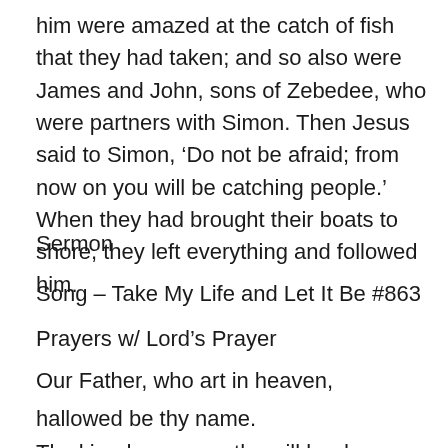him were amazed at the catch of fish that they had taken; and so also were James and John, sons of Zebedee, who were partners with Simon. Then Jesus said to Simon, ‘Do not be afraid; from now on you will be catching people.’ When they had brought their boats to shore, they left everything and followed him.
Sermon
Song – Take My Life and Let It Be #863
Prayers w/ Lord’s Prayer
Our Father, who art in heaven,
hallowed be thy name.
Thy kingdom come, thy will be done